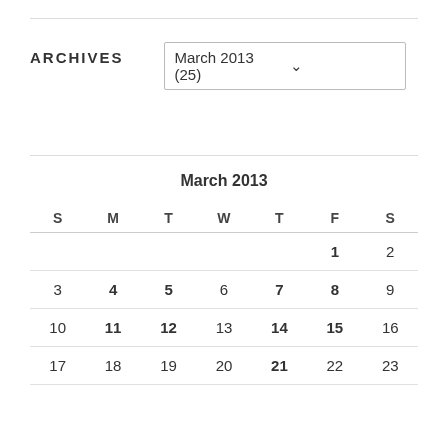ARCHIVES
March 2013  (25)
March 2013
| S | M | T | W | T | F | S |
| --- | --- | --- | --- | --- | --- | --- |
|  |  |  |  |  | 1 | 2 |
| 3 | 4 | 5 | 6 | 7 | 8 | 9 |
| 10 | 11 | 12 | 13 | 14 | 15 | 16 |
| 17 | 18 | 19 | 20 | 21 | 22 | 23 |